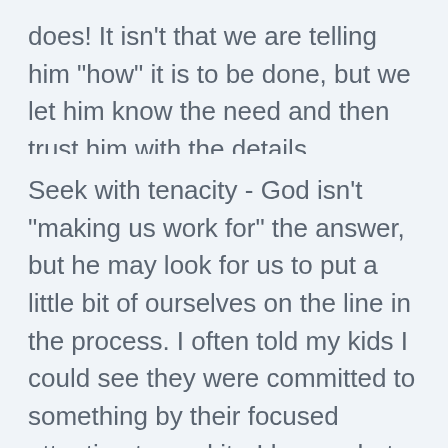does! It isn't that we are telling him "how" it is to be done, but we let him know the need and then trust him with the details.
Seek with tenacity - God isn't "making us work for" the answer, but he may look for us to put a little bit of ourselves on the line in the process. I often told my kids I could see they were committed to something by their focused attention toward it - I knew what they wanted was important to them because they were putting forth some effort on their part to obtain it. While G...